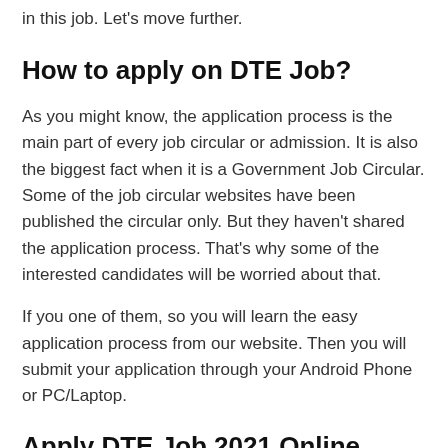in this job. Let's move further.
How to apply on DTE Job?
As you might know, the application process is the main part of every job circular or admission. It is also the biggest fact when it is a Government Job Circular. Some of the job circular websites have been published the circular only. But they haven't shared the application process. That's why some of the interested candidates will be worried about that.
If you one of them, so you will learn the easy application process from our website. Then you will submit your application through your Android Phone or PC/Laptop.
Apply DTE Job 2021 Online